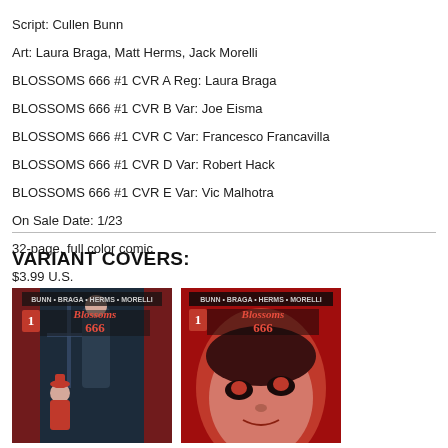Script: Cullen Bunn
Art: Laura Braga, Matt Herms, Jack Morelli
BLOSSOMSS 666 #1 CVR A Reg: Laura Braga
BLOSSOMSS 666 #1 CVR B Var: Joe Eisma
BLOSSOMSS 666 #1 CVR C Var: Francesco Francavilla
BLOSSOMSS 666 #1 CVR D Var: Robert Hack
BLOSSOMSS 666 #1 CVR E Var: Vic Malhotra
On Sale Date: 1/23
32-page, full color comic
$3.99 U.S.
VARIANT COVERS:
[Figure (illustration): Blossoms 666 #1 Cover A by Laura Braga — dark theatrical background with two figures, one in red and one standing, comic book cover style]
[Figure (illustration): Blossoms 666 #1 Cover B by Joe Eisma — red-toned close-up face illustration, comic book cover style]